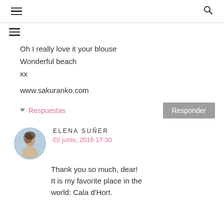≡  🔍
Oh I really love it your blouse
Wonderful beach
xx

www.sakuranko.com
▾ Respuestas    [Responder]
ELENA SUÑER
02 junio, 2016 17:30
Thank you so much, dear! It is my favorite place in the world: Cala d'Hort.